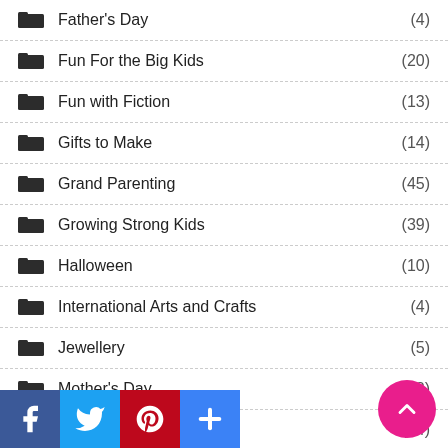Father's Day (4)
Fun For the Big Kids (20)
Fun with Fiction (13)
Gifts to Make (14)
Grand Parenting (45)
Growing Strong Kids (39)
Halloween (10)
International Arts and Crafts (4)
Jewellery (5)
Mother's Day (8)
Natural Wonders (14)
Natur... or ...t Crafts